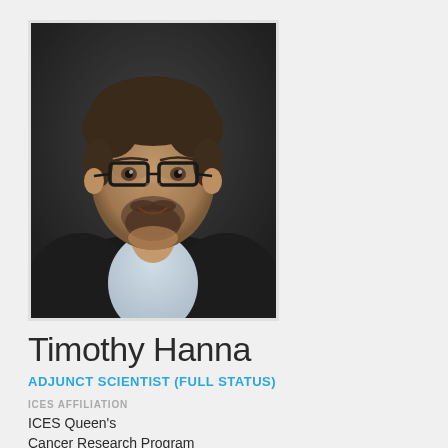[Figure (photo): Professional headshot of Timothy Hanna, a man with short hair, glasses, and a beard wearing a dark blazer and light collared shirt, smiling against a dark background.]
Timothy Hanna
ADJUNCT SCIENTIST (FULL STATUS)
ICES AFFILIATION
ICES Queen's
Cancer Research Program
PHONE
613-533-6895
ASSISTANT